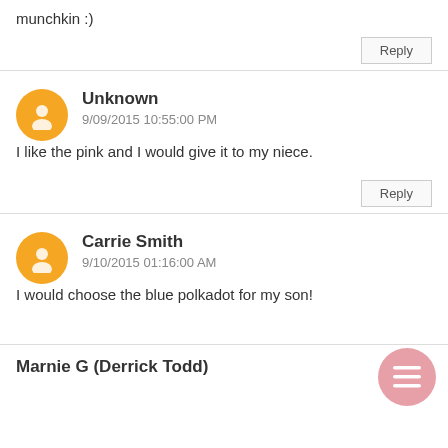munchkin :)
Reply
Unknown
9/09/2015 10:55:00 PM
I like the pink and I would give it to my niece.
Reply
Carrie Smith
9/10/2015 01:16:00 AM
I would choose the blue polkadot for my son!
Marnie G (Derrick Todd)